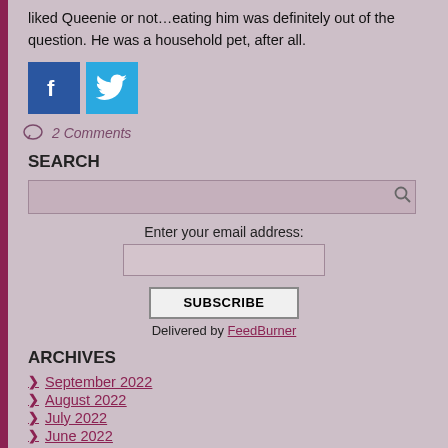liked Queenie or not…eating him was definitely out of the question. He was a household pet, after all.
[Figure (illustration): Facebook and Twitter social share buttons - blue square icons]
2 Comments
SEARCH
[Figure (screenshot): Search input box with magnifying glass icon]
Enter your email address:
SUBSCRIBE
Delivered by FeedBurner
ARCHIVES
September 2022
August 2022
July 2022
June 2022